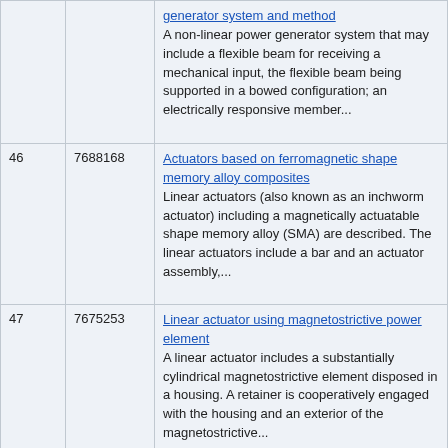| # | Patent | Description |
| --- | --- | --- |
|  |  | generator system and method
A non-linear power generator system that may include a flexible beam for receiving a mechanical input, the flexible beam being supported in a bowed configuration; an electrically responsive member... |
| 46 | 7688168 | Actuators based on ferromagnetic shape memory alloy composites
Linear actuators (also known as an inchworm actuator) including a magnetically actuatable shape memory alloy (SMA) are described. The linear actuators include a bar and an actuator assembly,... |
| 47 | 7675253 | Linear actuator using magnetostrictive power element
A linear actuator includes a substantially cylindrical magnetostrictive element disposed in a housing. A retainer is cooperatively engaged with the housing and an exterior of the magnetostrictive... |
| 48 | 7664377 | Driving apparatus for a ceiling fan
A driving apparatus for a DC brushless motor of a ceiling fan... |